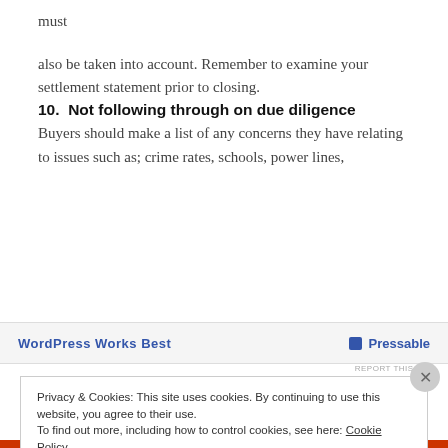must
also be taken into account. Remember to examine your settlement statement prior to closing.
10.  Not following through on due diligence
Buyers should make a list of any concerns they have relating to issues such as; crime rates, schools, power lines,
[Figure (other): Advertisement banner: WordPress Works Best | Pressable]
REPORT THIS AD
Privacy & Cookies: This site uses cookies. By continuing to use this website, you agree to their use.
To find out more, including how to control cookies, see here: Cookie Policy
Close and accept
REPORT THIS AD